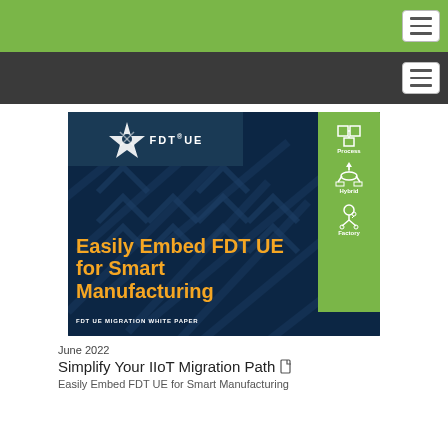[Figure (illustration): FDT UE Migration White Paper cover image: dark navy background with diagonal pattern, FDT UE logo top-left, green sidebar on right with Process/Hybrid/Factory icons, large orange bold text 'Easily Embed FDT UE for Smart Manufacturing', white subtitle 'FDT UE MIGRATION WHITE PAPER']
June 2022
Simplify Your IIoT Migration Path
Easily Embed FDT UE for Smart Manufacturing